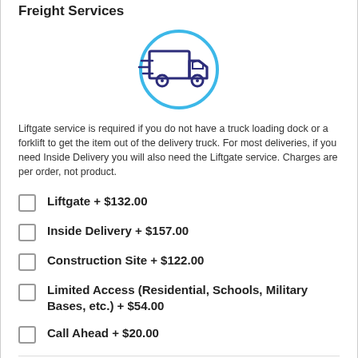Freight Services
[Figure (illustration): Delivery truck icon inside a light blue circle, truck drawn in dark blue/purple outline style with speed lines]
Liftgate service is required if you do not have a truck loading dock or a forklift to get the item out of the delivery truck. For most deliveries, if you need Inside Delivery you will also need the Liftgate service. Charges are per order, not product.
Liftgate + $132.00
Inside Delivery + $157.00
Construction Site + $122.00
Limited Access (Residential, Schools, Military Bases, etc.) + $54.00
Call Ahead + $20.00
TimeSaver Wifi Cart Accessory